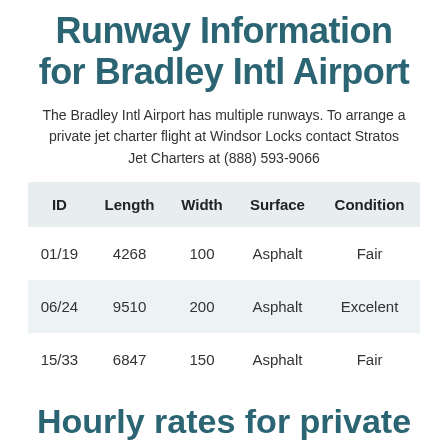Runway Information for Bradley Intl Airport
The Bradley Intl Airport has multiple runways. To arrange a private jet charter flight at Windsor Locks contact Stratos Jet Charters at (888) 593-9066
| ID | Length | Width | Surface | Condition |
| --- | --- | --- | --- | --- |
| 01/19 | 4268 | 100 | Asphalt | Fair |
| 06/24 | 9510 | 200 | Asphalt | Excelent |
| 15/33 | 6847 | 150 | Asphalt | Fair |
Hourly rates for private jets in